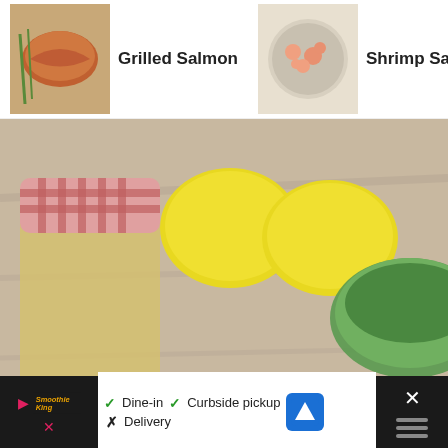[Figure (screenshot): Recipe app navigation bar showing three recipe items: Grilled Salmon with thumbnail, Shrimp Salad with thumbnail, and Greek Chicken Pasta Salad with thumbnail and a red arrow indicating more items]
[Figure (photo): Close-up food photo showing a plate of grilled salmon on a bed of green herb salad (tabbouleh-style), with lemons, a jar of dressing, and a bowl of green herbs in the background on a wooden surface]
[Figure (screenshot): Advertisement banner for Smoothie King showing Dine-in checkmark, Curbside pickup checkmark, Delivery with X mark, and a navigation icon]